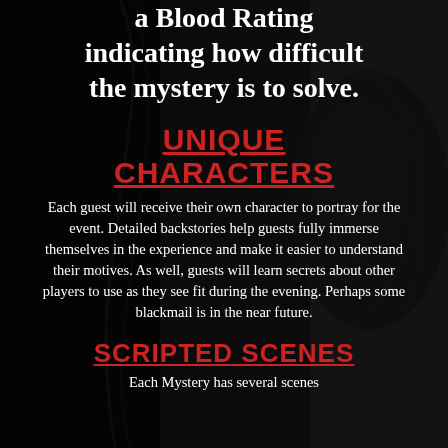a Blood Rating indicating how difficult the mystery is to solve.
UNIQUE CHARACTERS
Each guest will receive their own character to portray for the event. Detailed backstories help guests fully immerse themselves in the experience and make it easier to understand their motives. As well, guests will learn secrets about other players to use as they see fit during the evening. Perhaps some blackmail is in the near future.
SCRIPTED SCENES
Each Mystery has several scenes